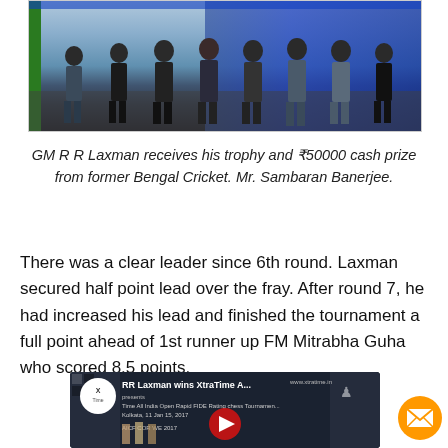[Figure (photo): Group photo of people standing in a row, likely at a chess tournament award ceremony, with a blue curtain backdrop]
GM R R Laxman receives his trophy and ₹50000 cash prize from former Bengal Cricket. Mr. Sambaran Banerjee.
There was a clear leader since 6th round. Laxman secured half point lead over the fray. After round 7, he had increased his lead and finished the tournament a full point ahead of 1st runner up FM Mitrabha Guha who scored 8.5 points.
[Figure (screenshot): YouTube video thumbnail showing RR Laxman wins XtraTime All India Open Rapid FIDE Rating chess Tournament, Kolkata 2017, with group of people and play button]